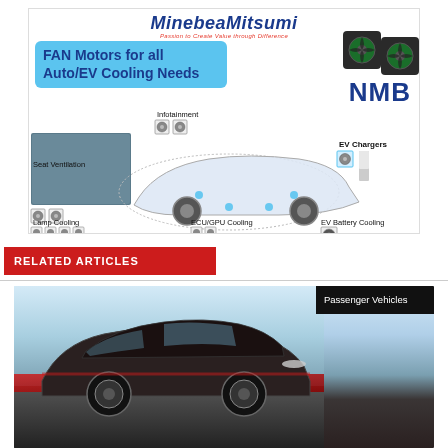[Figure (infographic): MinebeaMitsumi NMB FAN Motors for all Auto/EV Cooling Needs advertisement showing fan motor products for Infotainment, EV Chargers, Seat Ventilation, Lamp Cooling, ECU/GPU Cooling, and EV Battery Cooling applications on a transparent car diagram.]
RELATED ARTICLES
[Figure (photo): Photo of a dark-colored SUV / Passenger Vehicle on a light blue and red background. Label reads 'Passenger Vehicles'.]